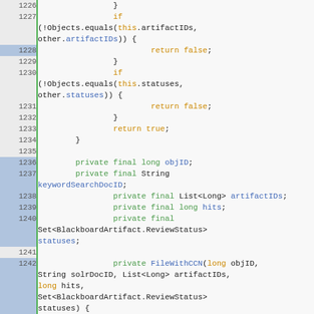[Figure (screenshot): Source code screenshot showing Java code lines 1226-1248 with syntax highlighting. Green line numbers on left, orange keywords (if/return), green keywords (private/final), blue identifiers.]